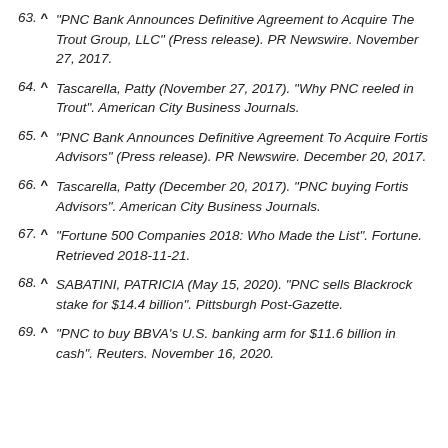63. ^ "PNC Bank Announces Definitive Agreement to Acquire The Trout Group, LLC" (Press release). PR Newswire. November 27, 2017.
64. ^ Tascarella, Patty (November 27, 2017). "Why PNC reeled in Trout". American City Business Journals.
65. ^ "PNC Bank Announces Definitive Agreement To Acquire Fortis Advisors" (Press release). PR Newswire. December 20, 2017.
66. ^ Tascarella, Patty (December 20, 2017). "PNC buying Fortis Advisors". American City Business Journals.
67. ^ "Fortune 500 Companies 2018: Who Made the List". Fortune. Retrieved 2018-11-21.
68. ^ SABATINI, PATRICIA (May 15, 2020). "PNC sells Blackrock stake for $14.4 billion". Pittsburgh Post-Gazette.
69. ^ "PNC to buy BBVA's U.S. banking arm for $11.6 billion in cash". Reuters. November 16, 2020.